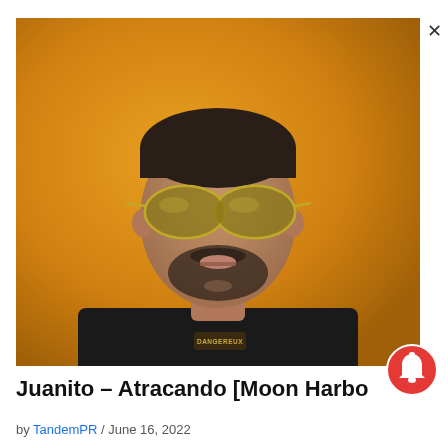[Figure (photo): Close-up photo of a man wearing gold-tinted aviator sunglasses and a black t-shirt with a small logo patch, against an orange background. The photo is cropped at roughly chest level.]
Juanito – Atracando [Moon Harbo
by TandemPR / June 16, 2022